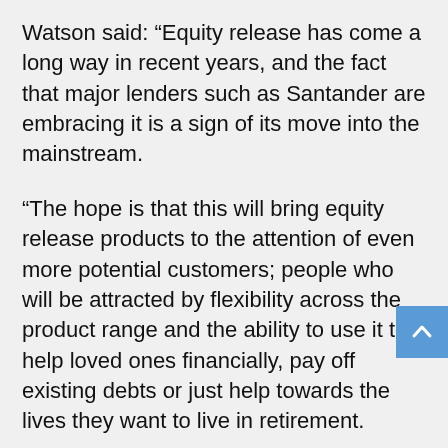Watson said: “Equity release has come a long way in recent years, and the fact that major lenders such as Santander are embracing it is a sign of its move into the mainstream.
“The hope is that this will bring equity release products to the attention of even more potential customers; people who will be attracted by flexibility across the product range and the ability to use it to help loved ones financially, pay off existing debts or just help towards the lives they want to live in retirement.
“These are exciting times for equity release and this news is evidence of a bright future to come.”